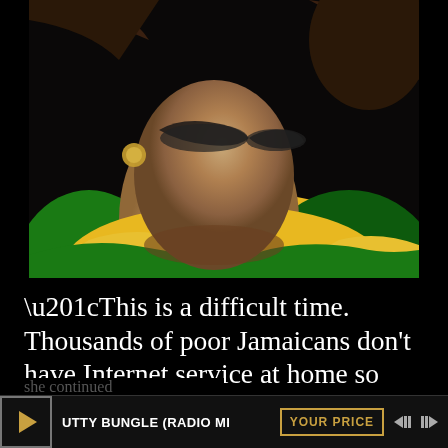[Figure (photo): Close-up photo of a person wearing a yellow and green jacket, with sunglasses, hair visible. Appears to be a Jamaican athlete or public figure.]
“This is a difficult time. Thousands of poor Jamaicans don't have Internet service at home so Internet connectivity becomes even more important at this time, and our service providers should be willing to respond in this national emergency."
she continued
UTTY BUNGLE (RADIO MI    YOUR PRICE